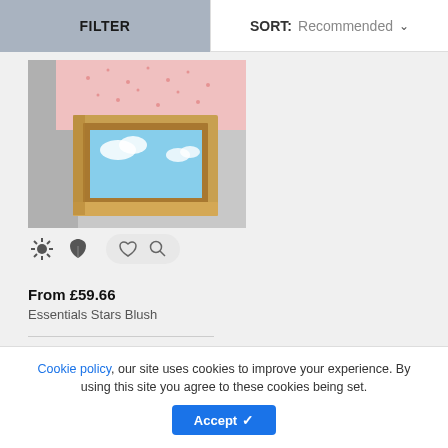FILTER | SORT: Recommended
[Figure (photo): Skylight window with blue sky visible through the glass and a pink star-patterned blind partially open, viewed from below inside a room]
From £59.66
Essentials Stars Blush
Cookie policy, our site uses cookies to improve your experience. By using this site you agree to these cookies being set.
Accept ✓